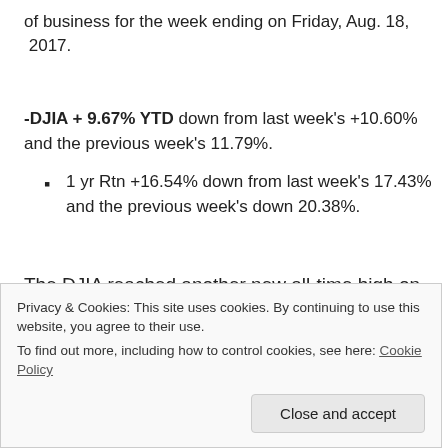of business for the week ending on Friday, Aug. 18, 2017.
-DJIA + 9.67% YTD down from last week’s +10.60% and the previous week’s 11.79%.
1 yr Rtn +16.54% down from last week’s 17.43% and the previous week’s down 20.38%.
The DJIA reached another new all-time high on August 8, 2017 of 22,179.11
Privacy & Cookies: This site uses cookies. By continuing to use this website, you agree to their use. To find out more, including how to control cookies, see here: Cookie Policy